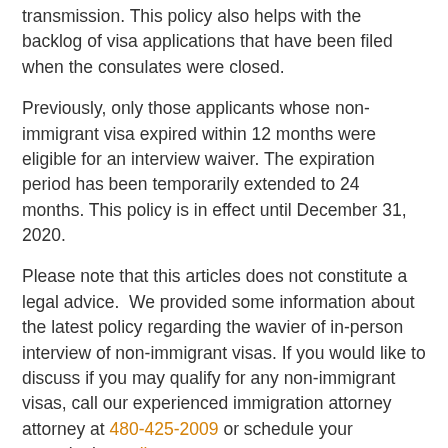transmission. This policy also helps with the backlog of visa applications that have been filed when the consulates were closed.
Previously, only those applicants whose non-immigrant visa expired within 12 months were eligible for an interview waiver. The expiration period has been temporarily extended to 24 months. This policy is in effect until December 31, 2020.
Please note that this articles does not constitute a legal advice.  We provided some information about the latest policy regarding the wavier of in-person interview of non-immigrant visas. If you would like to discuss if you may qualify for any non-immigrant visas, call our experienced immigration attorney attorney at 480-425-2009 or schedule your consultation online.